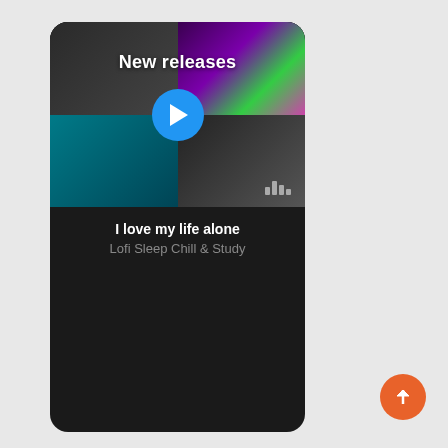[Figure (screenshot): Mobile app screenshot showing a music streaming interface with 'New releases' section, album art grid, play button, equalizer icon, song title 'I love my life alone', and artist 'Lofi Sleep Chill & Study'. Dark theme UI.]
New releases
I love my life alone
Lofi Sleep Chill & Study